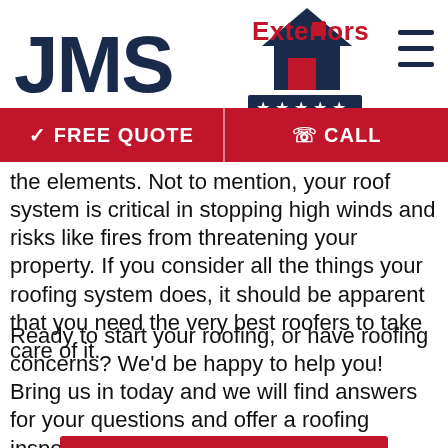[Figure (logo): JMS Exteriors logo with house/roof icon and five stars, on white background with hamburger menu icon top right]
FREE QUOTE   CALL
the elements. Not to mention, your roof system is critical in stopping high winds and risks like fires from threatening your property. If you consider all the things your roofing system does, it should be apparent that you need the very best roofers to take care of it.
Ready to start your roofing, or have roofing concerns? We'd be happy to help you! Bring us in today and we will find answers for your questions and offer a roofing inspection and pricing estimate.